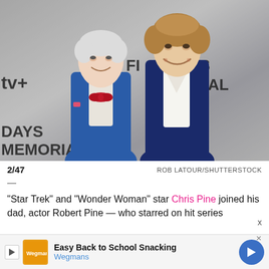[Figure (photo): Two men posing together in front of an Apple TV+ Five Days at Memorial event backdrop. The older man on the left wears a blue suit with a red bow tie. The younger man on the right wears a dark navy suit with an open white shirt. Text on the backdrop reads 'Apple TV+' and 'Five Days at Memorial'.]
2/47
ROB LATOUR/SHUTTERSTOCK
—
"Star Trek" and "Wonder Woman" star Chris Pine joined his dad, actor Robert Pine — who starred on hit series
[Figure (screenshot): Advertisement bar: Easy Back to School Snacking - Wegmans]